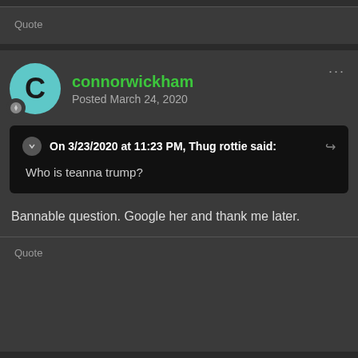Quote
connorwickham
Posted March 24, 2020
On 3/23/2020 at 11:23 PM, Thug rottie said:
Who is teanna trump?
Bannable question. Google her and thank me later.
Quote